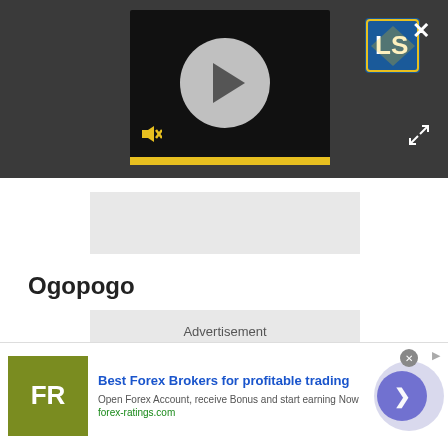[Figure (screenshot): Video player overlay on dark background with play button circle, sound/mute icons, PLAY SOUND label, LS logo, progress bar, close (X) button, and expand button]
[Figure (other): Gray placeholder rectangle]
Ogopogo
[Figure (other): Advertisement placeholder box with text 'Advertisement']
[Figure (other): Bottom advertisement banner: FR logo, 'Best Forex Brokers for profitable trading', 'Open Forex Account, receive Bonus and start earning Now', forex-ratings.com, arrow button]